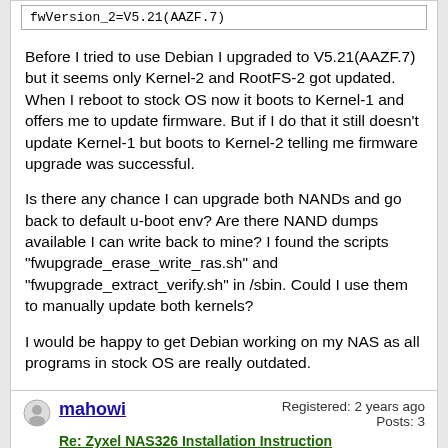fwVersion_2=V5.21(AAZF.7)
Before I tried to use Debian I upgraded to V5.21(AAZF.7) but it seems only Kernel-2 and RootFS-2 got updated. When I reboot to stock OS now it boots to Kernel-1 and offers me to update firmware. But if I do that it still doesn't update Kernel-1 but boots to Kernel-2 telling me firmware upgrade was successful.
Is there any chance I can upgrade both NANDs and go back to default u-boot env? Are there NAND dumps available I can write back to mine? I found the scripts "fwupgrade_erase_write_ras.sh" and "fwupgrade_extract_verify.sh" in /sbin. Could I use them to manually update both kernels?
I would be happy to get Debian working on my NAS as all programs in stock OS are really outdated.
mahowi
Registered: 2 years ago
Posts: 3
Re: Zyxel NAS326 Installation Instruction